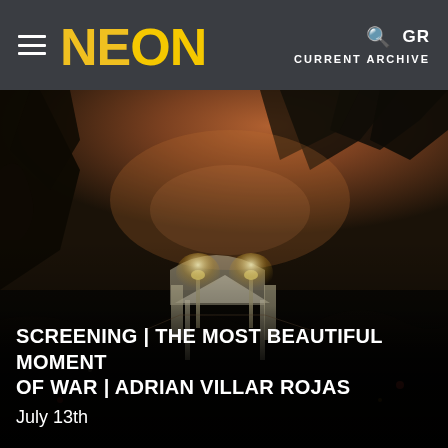NEON — Current Archive | GR
[Figure (photo): Outdoor evening event with a large crowd gathered in a garden setting. Trees and soft amber dusk sky visible in the background. A white pavilion/gate structure with two lamp posts is lit in the center. The foreground is filled with a dense crowd of attendees.]
SCREENING | THE MOST BEAUTIFUL MOMENT OF WAR | ADRIAN VILLAR ROJAS
July 13th